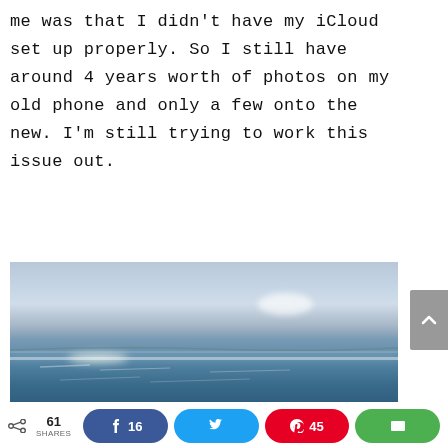me was that I didn't have my iCloud set up properly. So I still have around 4 years worth of photos on my old phone and only a few onto the new. I'm still trying to work this issue out.
[Figure (photo): A wide ocean/seascape photograph showing calm blue sea water under a light hazy sky with a small cloud formation visible in the upper right area and sun glare reflecting off the water surface.]